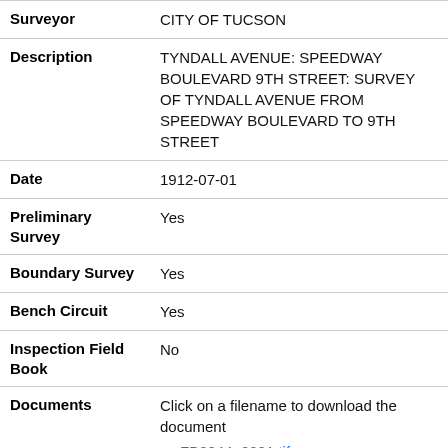| Field | Value |
| --- | --- |
| Surveyor | CITY OF TUCSON |
| Description | TYNDALL AVENUE: SPEEDWAY BOULEVARD 9TH STREET: SURVEY OF TYNDALL AVENUE FROM SPEEDWAY BOULEVARD TO 9TH STREET |
| Date | 1912-07-01 |
| Preliminary Survey | Yes |
| Boundary Survey | Yes |
| Bench Circuit | Yes |
| Inspection Field Book | No |
| Documents | Click on a filename to download the document
FB0044_0001.tif |